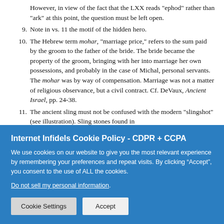However, in view of the fact that the LXX reads "ephod" rather than "ark" at this point, the question must be left open.
9. Note in vs. 11 the motif of the hidden hero.
10. The Hebrew term mohar, "marriage price," refers to the sum paid by the groom to the father of the bride. The bride became the property of the groom, bringing with her into marriage her own possessions, and probably in the case of Michal, personal servants. The mohar was by way of compensation. Marriage was not a matter of religious observance, but a civil contract. Cf. DeVaux, Ancient Israel, pp. 24-38.
11. The ancient sling must not be confused with the modern "slingshot" (see illustration). Sling stones found in
Internet Infidels Cookie Policy - CDPR + CCPA
We use cookies on our website to give you the most relevant experience by remembering your preferences and repeat visits. By clicking “Accept”, you consent to the use of ALL the cookies.
Do not sell my personal information.